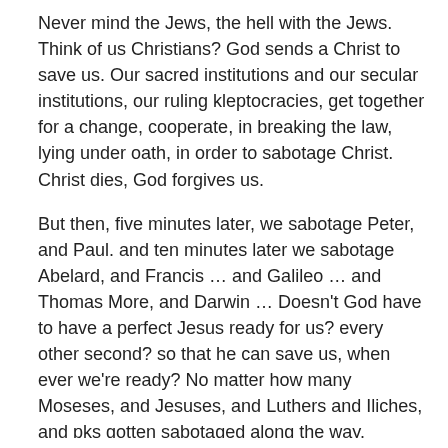Never mind the Jews, the hell with the Jews. Think of us Christians? God sends a Christ to save us. Our sacred institutions and our secular institutions, our ruling kleptocracies, get together for a change, cooperate, in breaking the law, lying under oath, in order to sabotage Christ. Christ dies, God forgives us.
But then, five minutes later, we sabotage Peter, and Paul. and ten minutes later we sabotage Abelard, and Francis … and Galileo … and Thomas More, and Darwin … Doesn't God have to have a perfect Jesus ready for us? every other second? so that he can save us, when ever we're ready? No matter how many Moseses, and Jesuses, and Luthers and Iliches, and pks gotten sabotaged along the way.
Compassion, see? The world is for the kleptocrats, to be